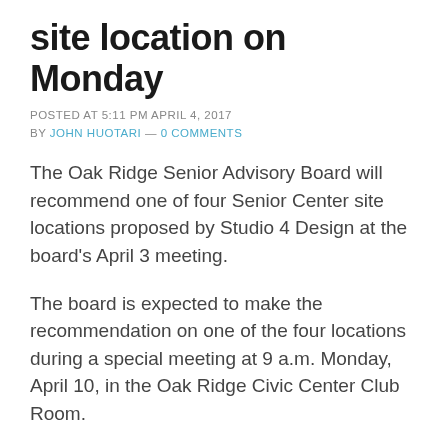site location on Monday
POSTED AT 5:11 PM APRIL 4, 2017
BY JOHN HUOTARI — 0 COMMENTS
The Oak Ridge Senior Advisory Board will recommend one of four Senior Center site locations proposed by Studio 4 Design at the board's April 3 meeting.
The board is expected to make the recommendation on one of the four locations during a special meeting at 9 a.m. Monday, April 10, in the Oak Ridge Civic Center Club Room.
Board members and other interested citizens are invited to attend the meeting. If you have